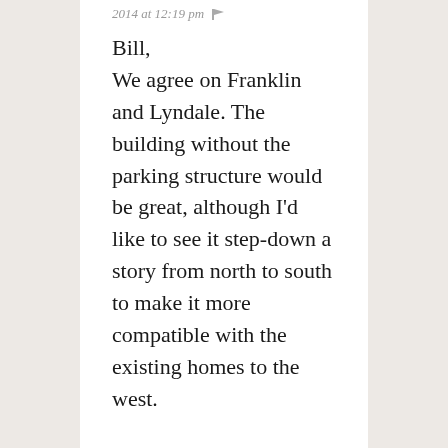2014 at 12:19 pm
Bill,
We agree on Franklin and Lyndale. The building without the parking structure would be great, although I'd like to see it step-down a story from north to south to make it more compatible with the existing homes to the west.